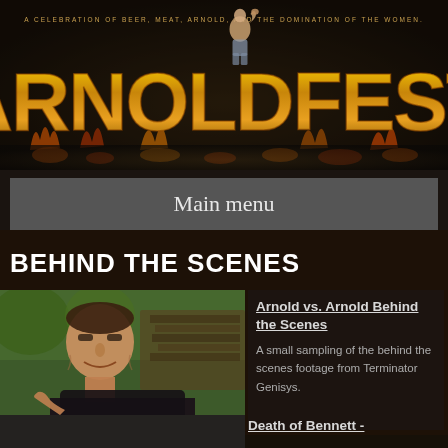[Figure (illustration): Arnoldfest website header banner with large golden flaming 'ARNOLDFEST' logo text on dark background, with small subtitle text above and a photo of Arnold Schwarzenegger flexing in the center]
A CELEBRATION OF BEER, MEAT, ARNOLD, AND THE DOMINATION OF THE WOMEN.
ARNOLDFEST
Main menu
BEHIND THE SCENES
[Figure (photo): Photo of Arnold Schwarzenegger in a dark shirt gesturing while speaking in an interview setting with blurred background]
Arnold vs. Arnold Behind the Scenes
A small sampling of the behind the scenes footage from Terminator Genisys.
[Figure (photo): Partial view of another video thumbnail at the bottom]
Death of Bennett -